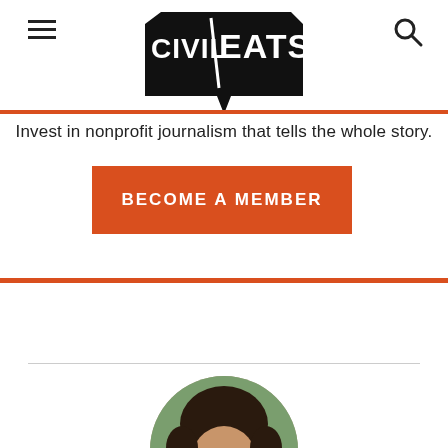Civil Eats — Invest in nonprofit journalism that tells the whole story.
BECOME A MEMBER
[Figure (photo): Circular profile photo of a person with dark curly hair, cropped at chin level, with green foliage background]